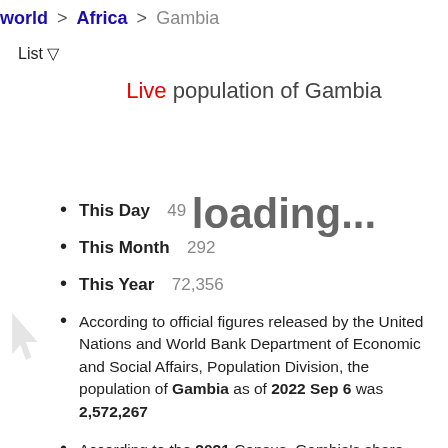world > Africa > Gambia
List ▽
Live population of Gambia loading...
This Day   49
This Month   292
This Year   72,356
According to official figures released by the United Nations and World Bank Department of Economic and Social Affairs, Population Division, the population of Gambia as of 2022 Sep 6 was 2,572,267
According to the 2021 Census, Gambia's share